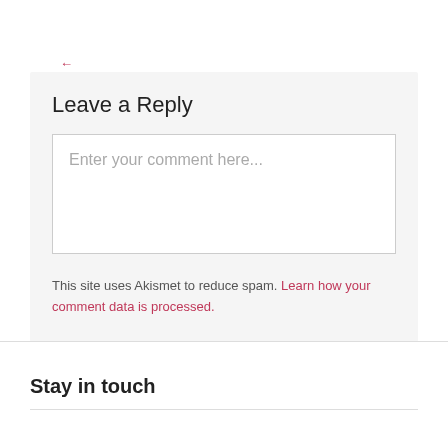← IMG_6030
Leave a Reply
Enter your comment here...
This site uses Akismet to reduce spam. Learn how your comment data is processed.
Stay in touch